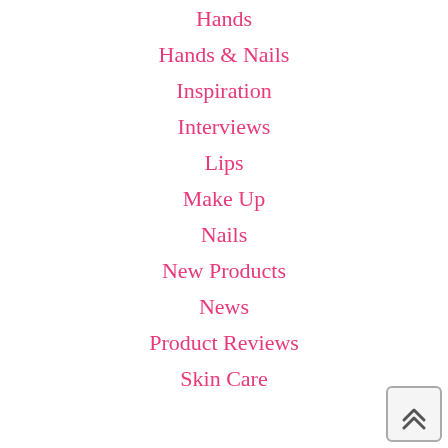Hands
Hands & Nails
Inspiration
Interviews
Lips
Make Up
Nails
New Products
News
Product Reviews
Skin Care
[Figure (other): Back to top button with double chevron up arrow]